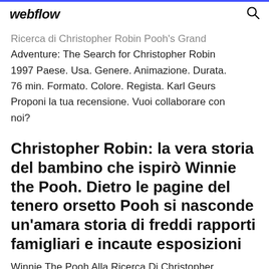webflow
Ricerca di Christopher Robin Pooh's Grand Adventure: The Search for Christopher Robin 1997 Paese. Usa. Genere. Animazione. Durata. 76 min. Formato. Colore. Regista. Karl Geurs Proponi la tua recensione. Vuoi collaborare con noi?
Christopher Robin: la vera storia del bambino che ispirò Winnie the Pooh. Dietro le pagine del tenero orsetto Pooh si nasconde un'amara storia di freddi rapporti famigliari e incaute esposizioni
Winnie The Pooh Alla Ricerca Di Christopher